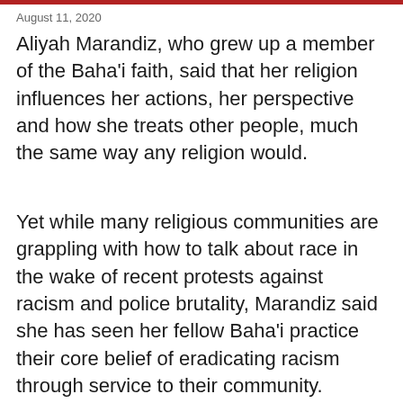August 11, 2020
Aliyah Marandiz, who grew up a member of the Baha'i faith, said that her religion influences her actions, her perspective and how she treats other people, much the same way any religion would.
Yet while many religious communities are grappling with how to talk about race in the wake of recent protests against racism and police brutality, Marandiz said she has seen her fellow Baha'i practice their core belief of eradicating racism through service to their community.